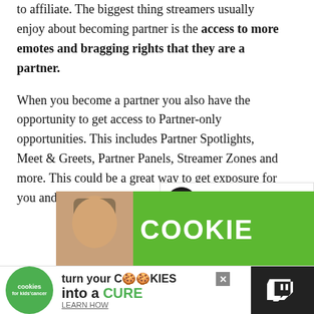to affiliate. The biggest thing streamers usually enjoy about becoming partner is the access to more emotes and bragging rights that they are a partner.
When you become a partner you also have the opportunity to get access to Partner-only opportunities. This includes Partner Spotlights, Meet & Greets, Partner Panels, Streamer Zones and more. This could be a great way to get exposure for you and your brand.
[Figure (screenshot): Like/heart button (blue circle with heart icon) and share button below it, with count '1']
[Figure (screenshot): What's Next panel showing thumbnail and text 'What Does BibleThump...']
[Figure (screenshot): Green advertisement banner showing a person and the word COOKIE]
[Figure (screenshot): Bottom advertisement: 'cookies for kids cancer' logo, 'turn your COOKIES into a CURE LEARN HOW' with Twitch logo on right]